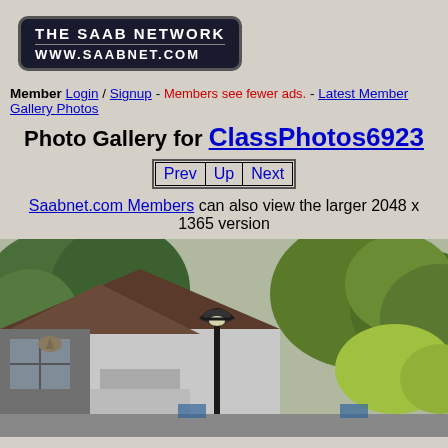[Figure (logo): The Saab Network logo with www.saabnet.com]
Member Login / Signup - Members see fewer ads. - Latest Member Gallery Photos
Photo Gallery for ClassPhotos6923
Prev Up Next (navigation buttons)
Saabnet.com Members can also view the larger 2048 x 1365 version
[Figure (photo): Outdoor scene with a house, street lamp, and green trees]